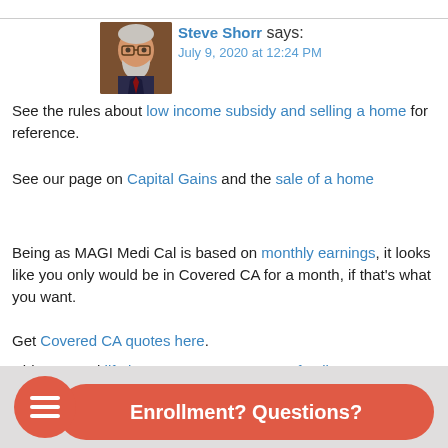[Figure (photo): Avatar photo of Steve Shorr, an older man with glasses and a beard, wearing a suit]
Steve Shorr says:
July 9, 2020 at 12:24 PM
See the rules about low income subsidy and selling a home for reference.
See our page on Capital Gains and the sale of a home
Being as MAGI Medi Cal is based on monthly earnings, it looks like you only would be in Covered CA for a month, if that's what you want.
Get Covered CA quotes here.
Did you need life insurance to protect your family?
Reply
Enrollment? Questions?
I am on Medi-Cal (CA medicaid), as an 'expansion adult'